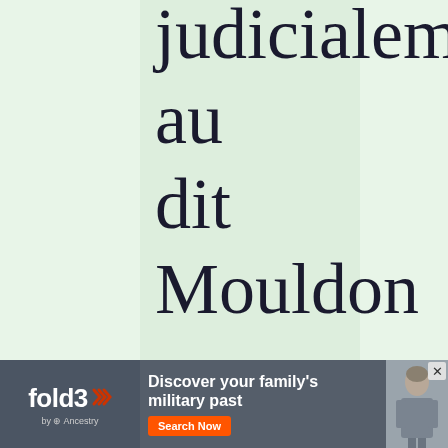judicialement au dit Mouldon par la Vefve et frere
[Figure (other): Fold3 by Ancestry advertisement banner: 'Discover your family's military past' with Search Now button and military figure photo]